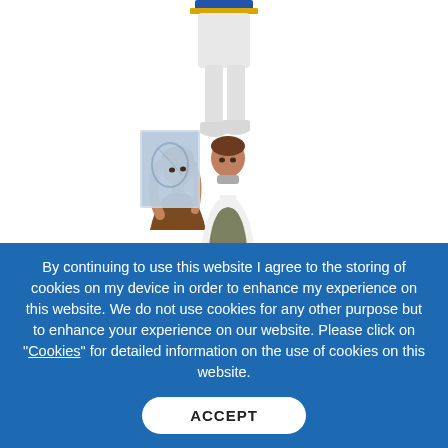[Figure (photo): Top portion: lower half of a person in white protective suit and boots (blue top visible at top edge). Below: two people (a woman and a man) examining an X-ray or document held up, both on white background.]
By continuing to use this website I agree to the storing of cookies on my device in order to enhance my experience on this website. We do not use cookies for any other purpose but to enhance your experience on our website. Please click on "Cookies" for detailed information on the use of cookies on this website.
ACCEPT